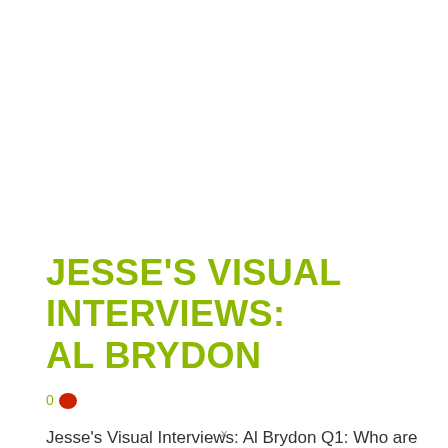JESSE'S VISUAL INTERVIEWS: AL BRYDON
0 💬
Jesse's Visual Interviews: Al Brydon Q1: Who are you? Q2: What is your favorite way to